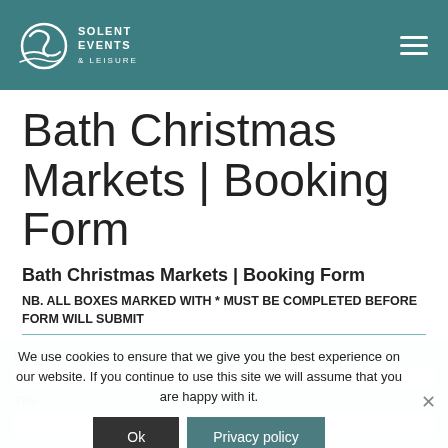Solent Events & Leisure
Bath Christmas Markets | Booking Form
Bath Christmas Markets | Booking Form
NB. ALL BOXES MARKED WITH * MUST BE COMPLETED BEFORE FORM WILL SUBMIT
Name *
We use cookies to ensure that we give you the best experience on our website. If you continue to use this site we will assume that you are happy with it.
Ok
Privacy policy
Title
First